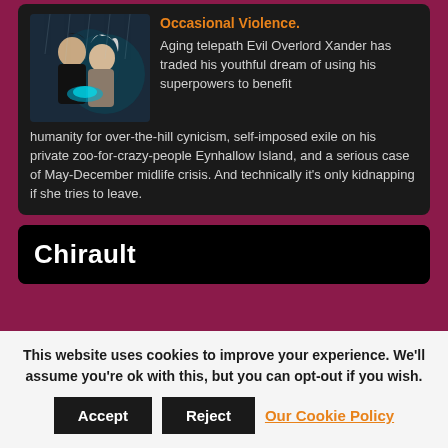[Figure (illustration): Book cover illustration showing two stylized figures — one with light hair and pointed ears, another with dark hair — rendered in dark blues and teals with a painterly style.]
Occasional Violence.
Aging telepath Evil Overlord Xander has traded his youthful dream of using his superpowers to benefit humanity for over-the-hill cynicism, self-imposed exile on his private zoo-for-crazy-people Eynhallow Island, and a serious case of May-December midlife crisis.  And technically it's only kidnapping if she tries to leave.
Chirault
This website uses cookies to improve your experience. We'll assume you're ok with this, but you can opt-out if you wish.
Accept
Reject
Our Cookie Policy